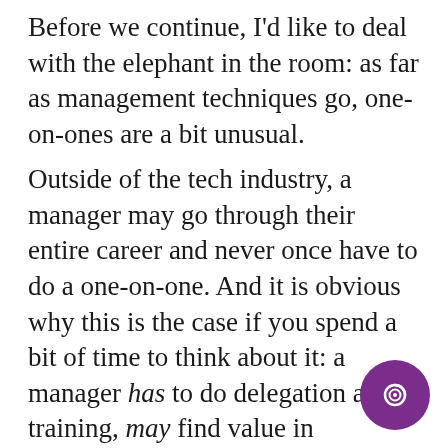Before we continue, I'd like to deal with the elephant in the room: as far as management techniques go, one-on-ones are a bit unusual.
Outside of the tech industry, a manager may go through their entire career and never once have to do a one-on-one. And it is obvious why this is the case if you spend a bit of time to think about it: a manager has to do delegation and training, may find value in prioritisation, and will definitely deal with performance reviews. They also do a dozen other things that are commonly associated with management: for instance, running meetings, synchronising functions across teams, setting targets, and recruiting new members. But one-on-ones are not a natural activity; left to themselves,
[Figure (logo): Purple circle with a concentric/spiral icon in white]